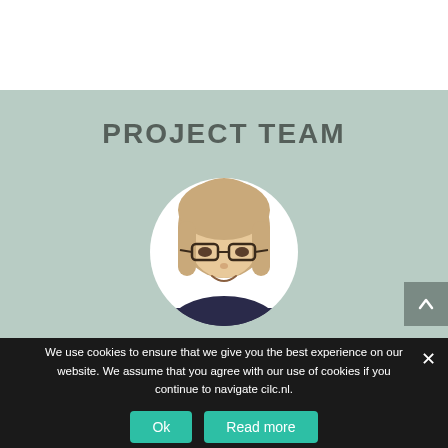PROJECT TEAM
[Figure (photo): Circular headshot photo of a young woman with blonde hair and glasses, smiling, on a white circular background set against a sage green section.]
We use cookies to ensure that we give you the best experience on our website. We assume that you agree with our use of cookies if you continue to navigate cilc.nl.